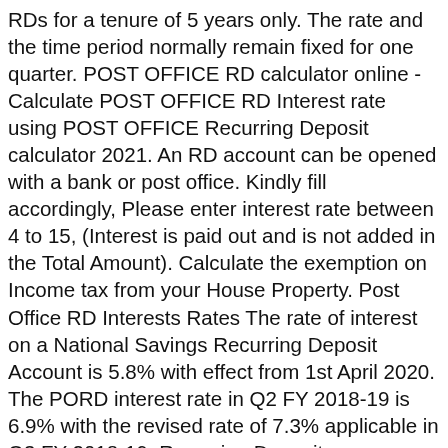RDs for a tenure of 5 years only. The rate and the time period normally remain fixed for one quarter. POST OFFICE RD calculator online - Calculate POST OFFICE RD Interest rate using POST OFFICE Recurring Deposit calculator 2021. An RD account can be opened with a bank or post office. Kindly fill accordingly, Please enter interest rate between 4 to 15, (Interest is paid out and is not added in the Total Amount). Calculate the exemption on Income tax from your House Property. Post Office RD Interests Rates The rate of interest on a National Savings Recurring Deposit Account is 5.8% with effect from 1st April 2020. The PORD interest rate in Q2 FY 2018-19 is 6.9% with the revised rate of 7.3% applicable in Q3 FY 2018-19. Recurring Deposits (RDs)/Term Deposits (TDs) – Interest rates on recurring deposits and term deposits have also been kept unchanged at 8.40% for all tenures, except term deposit of 5 years … https://www.bankbazaar.com/fixed-deposit/post-office-fixed-deposit-rate.html Post office … Check POST OFFICE RD rate of interest and calculate RD final amount via POST OFFICE RD Calculator on The Economic…